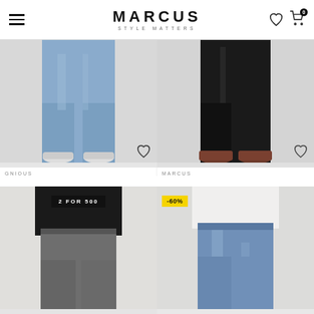MARCUS — STYLE MATTERS
[Figure (photo): Lower body of person wearing blue denim jeans and white sneakers, light grey background]
GNIOUS
PERFORMANCE JEANS - BLÅ
DKK 499,95
DKK 199,95
[Figure (photo): Lower body of person wearing black chinos and brown leather boots, light grey background]
MARCUS
PIRRO STETCH CHINOS
DKK 299,95
[Figure (photo): Person wearing grey chinos, black t-shirt, badge: 2 FOR 500]
[Figure (photo): Person wearing blue distressed jeans, white t-shirt, badge: -60%]